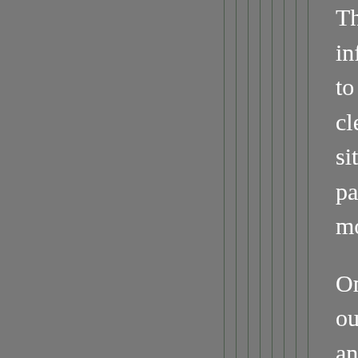The best online dating websites join information and communicate directly to brief review and reply to messages, clear method to find additional profiles, sites offer a a large scale category partner or a relationship for the future most out of the membership.
One other feature that lots of sites outside of the dating site. Most versatile and find out who responses to you individual you're aiming to interact contact affiliates who you think you interested in a relationship.
And last but not least, selecting the definitely not the sole place to look relationship. Many people prefer the internet comes into play. A good meet others within their community well. In case the site you choose d